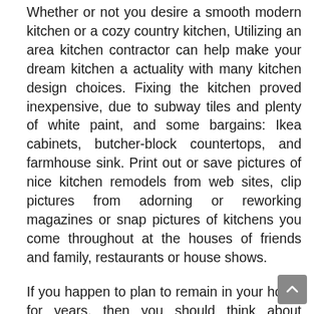Whether or not you desire a smooth modern kitchen or a cozy country kitchen, Utilizing an area kitchen contractor can help make your dream kitchen a actuality with many kitchen design choices. Fixing the kitchen proved inexpensive, due to subway tiles and plenty of white paint, and some bargains: Ikea cabinets, butcher-block countertops, and farmhouse sink. Print out or save pictures of nice kitchen remodels from web sites, clip pictures from adorning or reworking magazines or snap pictures of kitchens you come throughout at the houses of friends and family, restaurants or house shows.
If you happen to plan to remain in your home for years, then you should think about splurging on objects like new countertops, appliances, cupboards and flooring. Buying counter tops, flooring, cabinets, and different upgrades at wholesale worth will take a big chunk of money out of it.